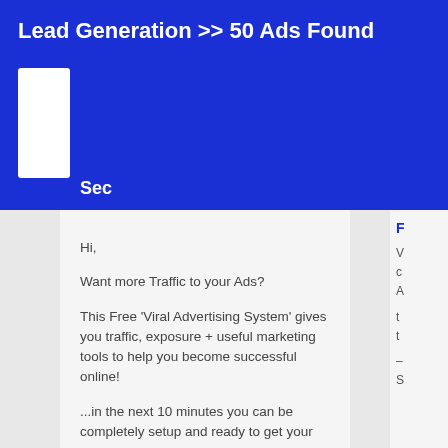Lead Generation >> 50 Ads Found
Sec
Hi,

Want more Traffic to your Ads?

This Free 'Viral Advertising System' gives you traffic, exposure + useful marketing tools to help you become successful online!

...in the next 10 minutes you can be completely setup and ready to get your